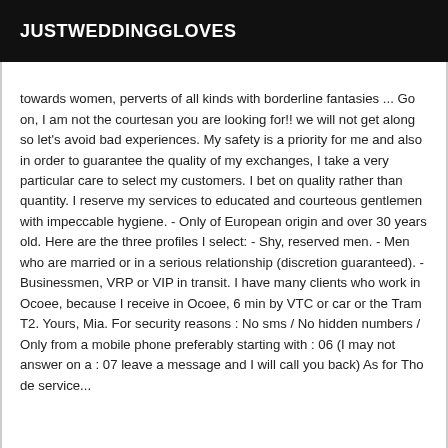JUSTWEDDINGGLOVES
towards women, perverts of all kinds with borderline fantasies ... Go on, I am not the courtesan you are looking for!! we will not get along so let's avoid bad experiences. My safety is a priority for me and also in order to guarantee the quality of my exchanges, I take a very particular care to select my customers. I bet on quality rather than quantity. I reserve my services to educated and courteous gentlemen with impeccable hygiene. - Only of European origin and over 30 years old. Here are the three profiles I select: - Shy, reserved men. - Men who are married or in a serious relationship (discretion guaranteed). - Businessmen, VRP or VIP in transit. I have many clients who work in Ocoee, because I receive in Ocoee, 6 min by VTC or car or the Tram T2. Yours, Mia. For security reasons : No sms / No hidden numbers / Only from a mobile phone preferably starting with : 06 (I may not answer on a : 07 leave a message and I will call you back) As for Tho de service...